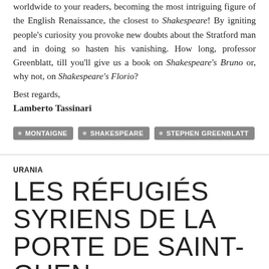worldwide to your readers, becoming the most intriguing figure of the English Renaissance, the closest to Shakespeare! By igniting people's curiosity you provoke new doubts about the Stratford man and in doing so hasten his vanishing. How long, professor Greenblatt, till you'll give us a book on Shakespeare's Bruno or, why not, on Shakespeare's Florio?
Best regards,
Lamberto Tassinari
MONTAIGNE
SHAKESPEARE
STEPHEN GREENBLATT
URANIA
LES RÉFUGIÉS SYRIENS DE LA PORTE DE SAINT-OUEN